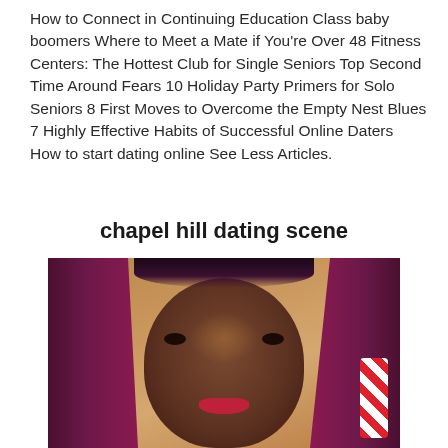How to Connect in Continuing Education Class baby boomers Where to Meet a Mate if You're Over 48 Fitness Centers: The Hottest Club for Single Seniors Top Second Time Around Fears 10 Holiday Party Primers for Solo Seniors 8 First Moves to Overcome the Empty Nest Blues 7 Highly Effective Habits of Successful Online Daters How to start dating online See Less Articles.
chapel hill dating scene
[Figure (photo): Close-up photo of a young woman with long purple/dark red hair, dark complexion, and red lipstick, smiling slightly. There is a red and white striped object visible on the right side. Background appears to be a wooden surface.]